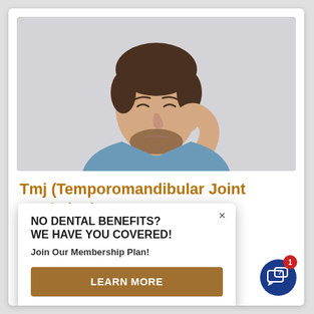[Figure (photo): Man in blue shirt holding his jaw/cheek in pain, eyes closed, light gray background]
Tmj (Temporomandibular Joint Dysfunction)
Temporomandibular Joint Dysfunction Syndrome (TMJ) is a wide variety of people. TMJ is aches, jaw pain of var
Read More »
[Figure (infographic): Popup modal overlay: 'NO DENTAL BENEFITS? WE HAVE YOU COVERED!' with 'Join Our Membership Plan!' and 'LEARN MORE' button. Has an X close button at top right.]
[Figure (other): Blue circular chat/support button at bottom right with a '1' notification badge in red]